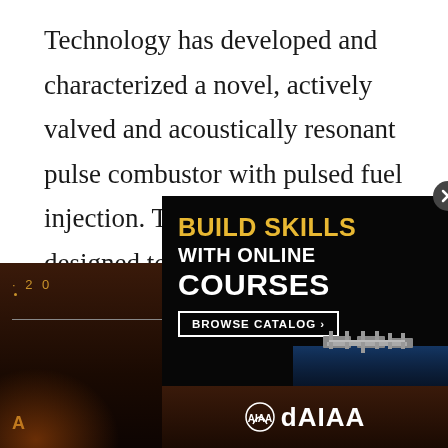Technology has developed and characterized a novel, actively valved and acoustically resonant pulse combustor with pulsed fuel injection. The pulsed combustor is designed to produce meaningful pressure gain with low pollutant emission in a gas turbine engine. ★
[Figure (other): Advertisement overlay on dark space background showing AIAA online courses promotion. Text reads: BUILD SKILLS WITH ONLINE COURSES, BROWSE CATALOG >. AIAA logo at bottom. International Space Station image visible. Close button (X) in top right corner.]
· 2 0                                                     W
—————————————————————
A                          S
dAIAA